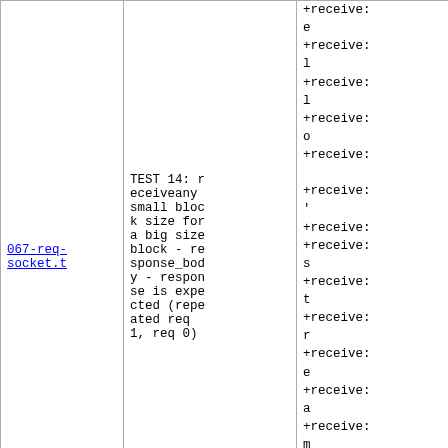| 067-req-socket.t | TEST 14: receiveany small block size for a big size block - response_body - response is expected (repeated req 1, req 0) | +receive:
e
+receive:
l
+receive:
l
+receive:
o
+receive:

+receive:
'
+receive:
+receive:
s
+receive:
t
+receive:
r
+receive:
e
+receive:
a
+receive:
m
+receive:
+receive:
r |